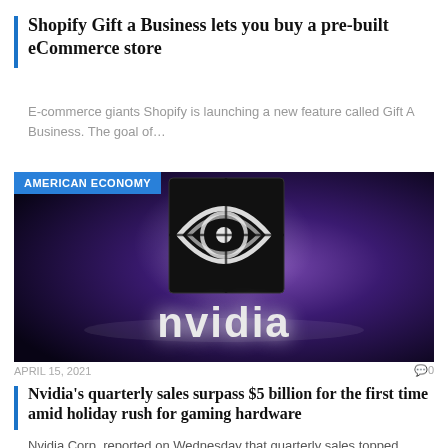Shopify Gift a Business lets you buy a pre-built eCommerce store
E-commerce giants Shopify is launching a new feature called Gift A Business. The goal of…
[Figure (photo): Illuminated NVIDIA logo sign showing the eye symbol and brand name against a dark purple/black background, with a blue 'AMERICAN ECONOMY' category badge in the top-left corner.]
APRIL 15, 2021    🗨0
Nvidia's quarterly sales surpass $5 billion for the first time amid holiday rush for gaming hardware
Nvidia Corp. reported on Wednesday that quarterly sales topped